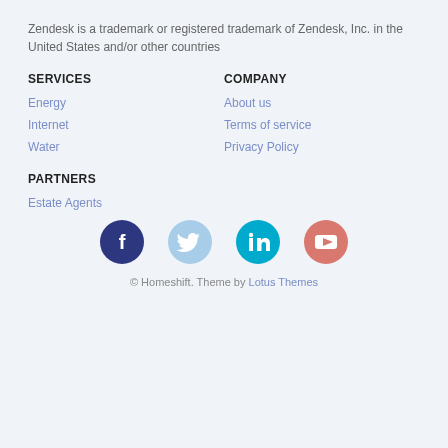Zendesk is a trademark or registered trademark of Zendesk, Inc. in the United States and/or other countries
SERVICES
COMPANY
Energy
About us
Internet
Terms of service
Water
Privacy Policy
PARTNERS
Estate Agents
[Figure (illustration): Social media icons: Facebook (dark blue circle with F), Twitter (light blue circle with bird), LinkedIn (cyan circle with in), YouTube (salmon circle with play button)]
© Homeshift. Theme by Lotus Themes